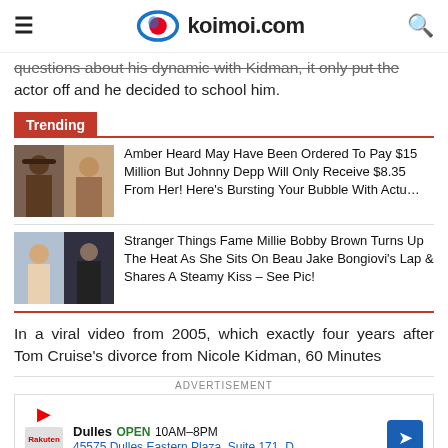koimoi.com
questions about his dynamic with Kidman, it only put the actor off and he decided to school him.
Trending
[Figure (photo): Two thumbnail photos of Johnny Depp and Amber Heard]
Amber Heard May Have Been Ordered To Pay $15 Million But Johnny Depp Will Only Receive $8.35 From Her! Here's Bursting Your Bubble With Actu...
[Figure (photo): Two thumbnail photos of Millie Bobby Brown and Jake Bongiovi]
Stranger Things Fame Millie Bobby Brown Turns Up The Heat As She Sits On Beau Jake Bongiovi's Lap & Shares A Steamy Kiss – See Pic!
In a viral video from 2005, which exactly four years after Tom Cruise's divorce from Nicole Kidman, 60 Minutes
ADVERTISEMENT
Dulles OPEN 10AM–8PM
45575 Dulles Eastern Plaza, Suite 171, D